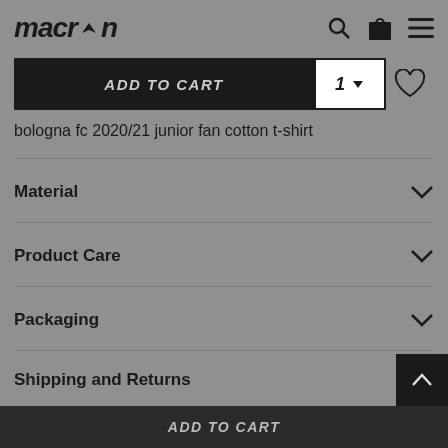macron
ADD TO CART  1  ♡
bologna fc 2020/21 junior fan cotton t-shirt
Material
Product Care
Packaging
Shipping and Returns
ADD TO CART